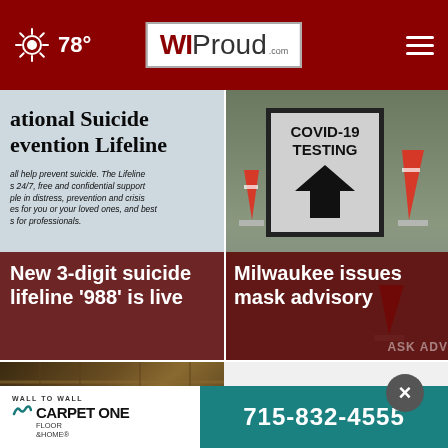78° WI Proud .com
[Figure (photo): Close-up of National Suicide Prevention Lifeline sign with text about 24/7 free and confidential support. Overlay text: New 3-digit suicide lifeline '988' is live]
[Figure (photo): COVID-19 TESTING sign with upward arrow, surrounded by orange traffic cones. Overlay text: Milwaukee issues mask advisory]
[Figure (photo): Video thumbnail of building interior with play button overlay]
[Figure (infographic): Advertisement: Wall to Wall Carpet One Floor & Home - 715-832-4555]